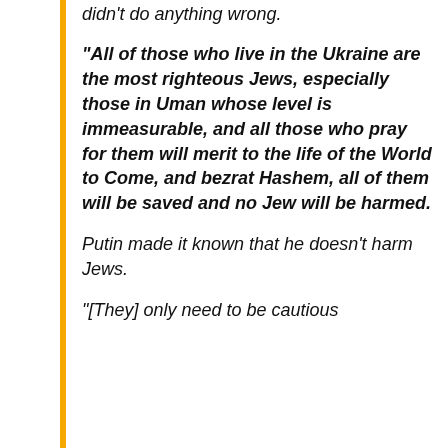didn’t do anything wrong.
“All of those who live in the Ukraine are the most righteous Jews, especially those in Uman whose level is immeasurable, and all those who pray for them will merit to the life of the World to Come, and bezrat Hashem, all of them will be saved and no Jew will be harmed.
Putin made it known that he doesn’t harm Jews.
“[They] only need to be cautious